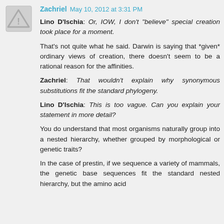Zachriel May 10, 2012 at 3:31 PM
Lino D'Ischia: Or, IOW, I don't "believe" special creation took place for a moment.
That's not quite what he said. Darwin is saying that *given* ordinary views of creation, there doesn't seem to be a rational reason for the affinities.
Zachriel: That wouldn't explain why synonymous substitutions fit the standard phylogeny.
Lino D'Ischia: This is too vague. Can you explain your statement in more detail?
You do understand that most organisms naturally group into a nested hierarchy, whether grouped by morphological or genetic traits?
In the case of prestin, if we sequence a variety of mammals, the genetic base sequences fit the standard nested hierarchy, but the amino acid